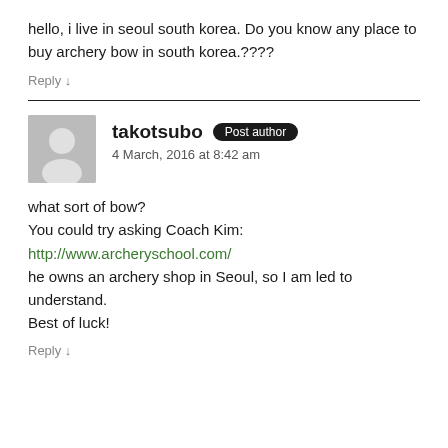hello, i live in seoul south korea. Do you know any place to buy archery bow in south korea.????
Reply ↓
takotsubo Post author
4 March, 2016 at 8:42 am
what sort of bow?
You could try asking Coach Kim:
http://www.archeryschool.com/
he owns an archery shop in Seoul, so I am led to understand.
Best of luck!
Reply ↓